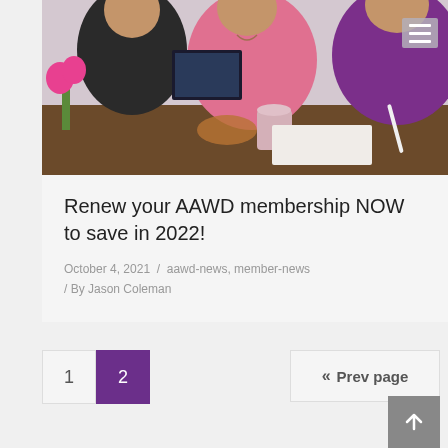[Figure (photo): Photo of women smiling and working together at a table with laptops, a coffee mug, and pink tulips. A navigation hamburger menu icon is visible in the top right corner of the image.]
Renew your AAWD membership NOW to save in 2022!
October 4, 2021  /  aawd-news, member-news  /  By Jason Coleman